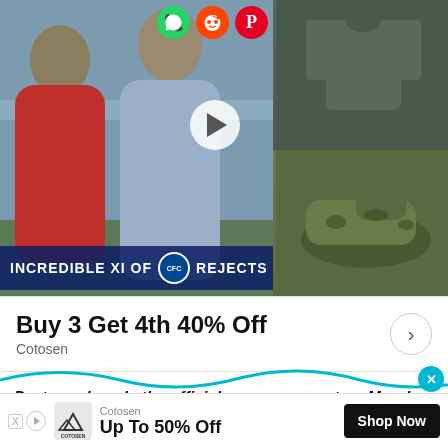[Figure (screenshot): Video thumbnail showing soccer players with Chelsea XI Of Rejects title, and product images of a green shirt and camo shoes on the right]
[Figure (infographic): Advertisement card: Buy 3 Get 4th 40% Off - Cotosen with right arrow]
Dortmund made the official announcement on Monday
and have named Terzic their new manager on a contract until 2025.
[Figure (infographic): Bottom ad banner: Cotosen - Up To 50% Off - Shop Now button]